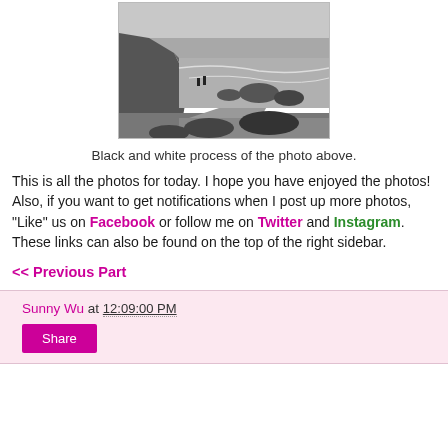[Figure (photo): Black and white photograph of a coastal rocky beach scene with cliffs on the left and ocean waves, people visible near the rocks]
Black and white process of the photo above.
This is all the photos for today. I hope you have enjoyed the photos! Also, if you want to get notifications when I post up more photos, "Like" us on Facebook or follow me on Twitter and Instagram. These links can also be found on the top of the right sidebar.
<< Previous Part
Sunny Wu at 12:09:00 PM
Share